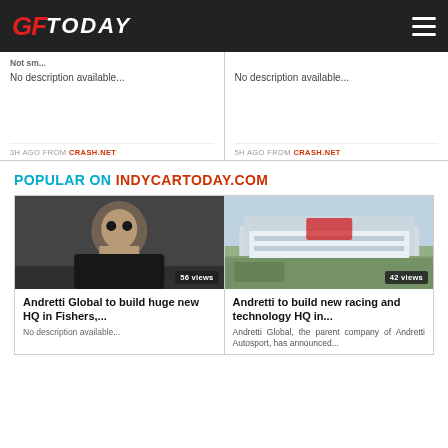GFToday
No description available...
No description available...
3H AGO FROM CRASH.NET
5H AGO FROM CRASH.NET
POPULAR ON INDYCARTODAY.COM
[Figure (photo): Portrait photo of a man, 56 views badge]
Andretti Global to build huge new HQ in Fishers,...
No description available...
[Figure (photo): Aerial/architectural rendering of a building, 42 views badge]
Andretti to build new racing and technology HQ in...
Andretti Global, the parent company of Andretti Autosport, has announced...